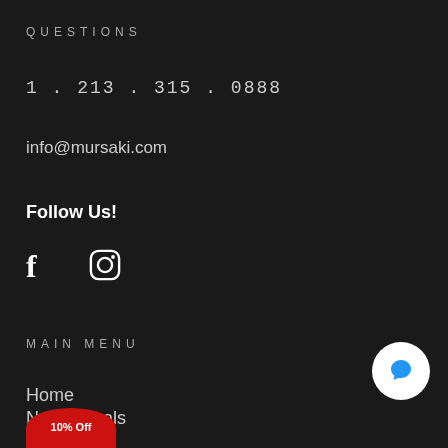QUESTIONS
1 . 213 . 315 . 0888
info@mursaki.com
Follow Us!
[Figure (other): Facebook and Instagram social media icons in white on dark background]
MAIN MENU
Home
New Arrivals
Bottoms
Tops
Customs
[Figure (other): Blue chat bubble icon in white circle at bottom right]
[Figure (other): Red promotional badge at bottom left, partially visible, reading '10% Off']